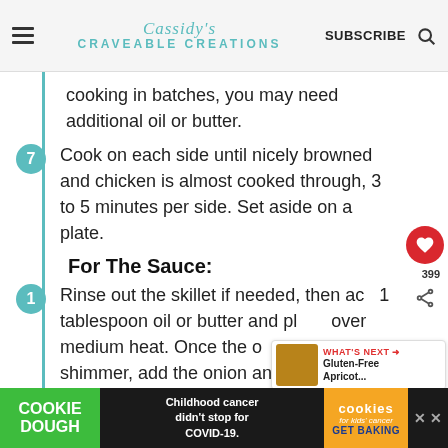Cassidy's Craveable Creations — SUBSCRIBE
cooking in batches, you may need additional oil or butter.
7. Cook on each side until nicely browned and chicken is almost cooked through, 3 to 5 minutes per side. Set aside on a plate.
For The Sauce:
1. Rinse out the skillet if needed, then add 1 tablespoon oil or butter and place over medium heat. Once the oil begins to shimmer, add the onion and saute
[Figure (other): Ad banner: COOKIE DOUGH / Childhood cancer didn't stop for COVID-19. / cookies for kids cancer GET BAKING]